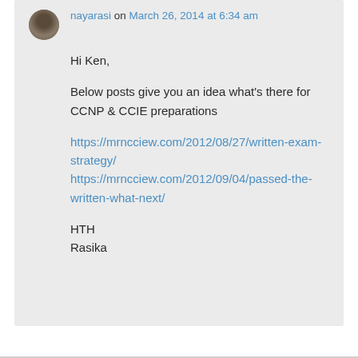nayarasi on March 26, 2014 at 6:34 am
Hi Ken,
Below posts give you an idea what's there for CCNP & CCIE preparations
https://mrncciew.com/2012/08/27/written-exam-strategy/
https://mrncciew.com/2012/09/04/passed-the-written-what-next/
HTH
Rasika